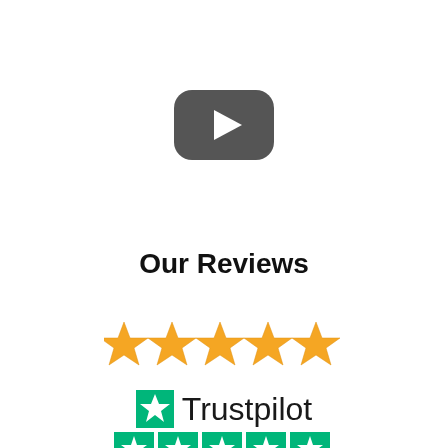[Figure (illustration): YouTube-style dark rounded rectangle play button icon, dark gray color with white triangle play symbol in center]
Our Reviews
[Figure (illustration): Five gold/yellow star rating icons in a row, partially cropped on left and right sides]
[Figure (logo): Trustpilot logo: green star on left followed by the word Trustpilot in dark text, with a row of green Trustpilot rating star boxes at the bottom]